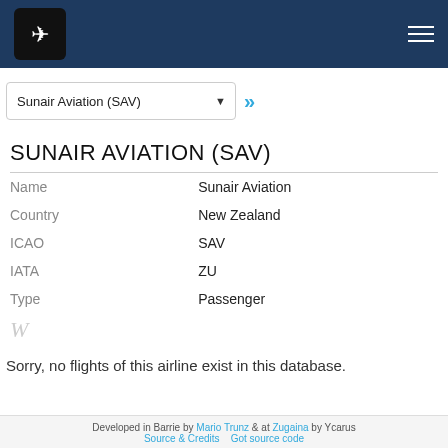Sunair Aviation (SAV) — airline tracker app header with logo and hamburger menu
Sunair Aviation (SAV)
SUNAIR AVIATION (SAV)
| Field | Value |
| --- | --- |
| Name | Sunair Aviation |
| Country | New Zealand |
| ICAO | SAV |
| IATA | ZU |
| Type | Passenger |
Sorry, no flights of this airline exist in this database.
Developed in Barrie by Mario Trunz & at Zugaina by Ycarus
Source & Credits    Got source code